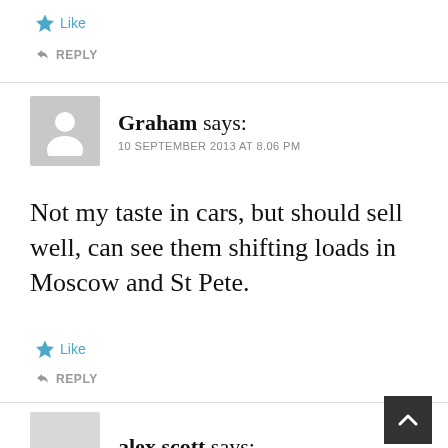★ Like
↩ REPLY
Graham says: 10 SEPTEMBER 2013 AT 8.06 PM
Not my taste in cars, but should sell well, can see them shifting loads in Moscow and St Pete.
★ Like
↩ REPLY
alex scott says: